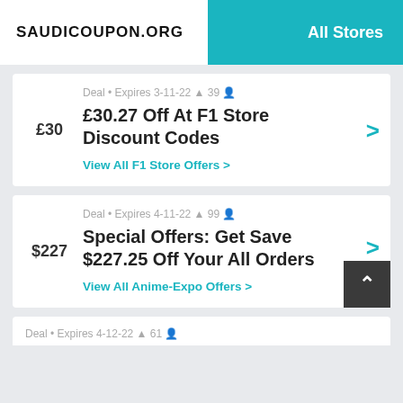SAUDICOUPON.ORG | All Stores
Deal • Expires 3-11-22 🔔 39 👤
£30.27 Off At F1 Store Discount Codes
View All F1 Store Offers >
Deal • Expires 4-11-22 🔔 99 👤
Special Offers: Get Save $227.25 Off Your All Orders
View All Anime-Expo Offers >
Deal • Expires 4-12-22 🔔 61 👤